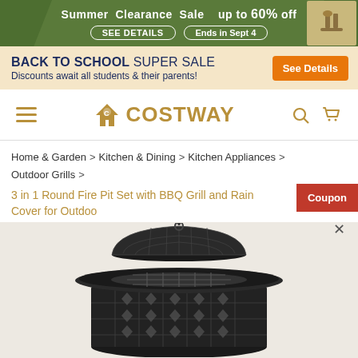[Figure (screenshot): Summer Clearance Sale banner - green background with leaves, text: Summer Clearance Sale up to 60% off, SEE DETAILS, Ends in Sept 4]
[Figure (screenshot): Back to School Super Sale banner - beige background, text: BACK TO SCHOOL SUPER SALE, Discounts await all students & their parents!, See Details orange button]
[Figure (screenshot): Costway website navigation bar with hamburger menu, Costway logo (house + C icon), search icon, and cart icon]
Home & Garden > Kitchen & Dining > Kitchen Appliances > Outdoor Grills >
3 in 1 Round Fire Pit Set with BBQ Grill and Rain Cover for Outdoor
[Figure (photo): Close-up photo of a black round fire pit set with BBQ grill mesh lid with a ring handle, decorative lattice pattern base, shown from top-down angle on a light background. Product is dark/black metal.]